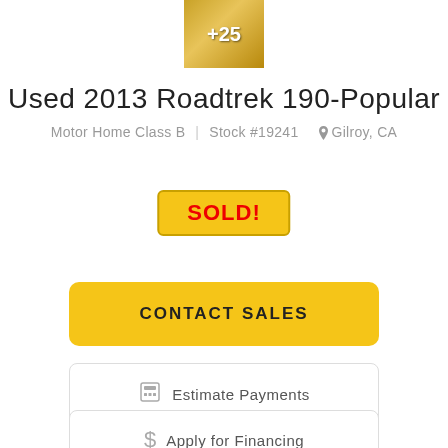[Figure (photo): Thumbnail image of RV interior with golden/warm tones, showing +25 overlay indicating more photos]
Used 2013 Roadtrek 190-Popular
Motor Home Class B   Stock #19241   Gilroy, CA
SOLD!
CONTACT SALES
Estimate Payments
Apply for Financing